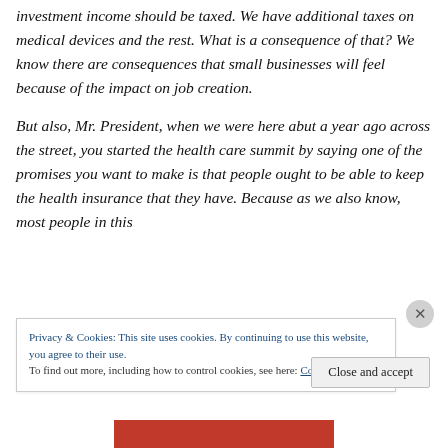investment income should be taxed. We have additional taxes on medical devices and the rest. What is a consequence of that? We know there are consequences that small businesses will feel because of the impact on job creation.
But also, Mr. President, when we were here abut a year ago across the street, you started the health care summit by saying one of the promises you want to make is that people ought to be able to keep the health insurance that they have. Because as we also know, most people in this
Privacy & Cookies: This site uses cookies. By continuing to use this website, you agree to their use.
To find out more, including how to control cookies, see here: Cookie Policy